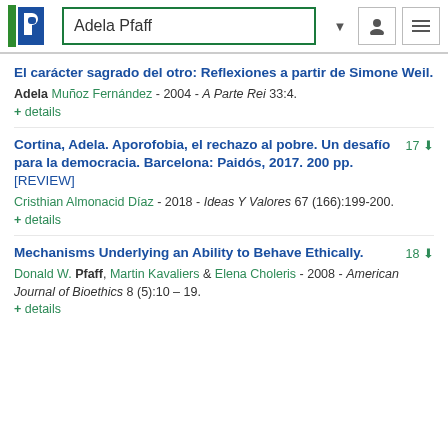Adela Pfaff
El carácter sagrado del otro: Reflexiones a partir de Simone Weil.
Adela Muñoz Fernández - 2004 - A Parte Rei 33:4.
+ details
Cortina, Adela. Aporofobia, el rechazo al pobre. Un desafío para la democracia. Barcelona: Paidós, 2017. 200 pp. [REVIEW]
Cristhian Almonacid Díaz - 2018 - Ideas Y Valores 67 (166):199-200.
+ details
Mechanisms Underlying an Ability to Behave Ethically.
Donald W. Pfaff, Martin Kavaliers & Elena Choleris - 2008 - American Journal of Bioethics 8 (5):10 – 19.
+ details